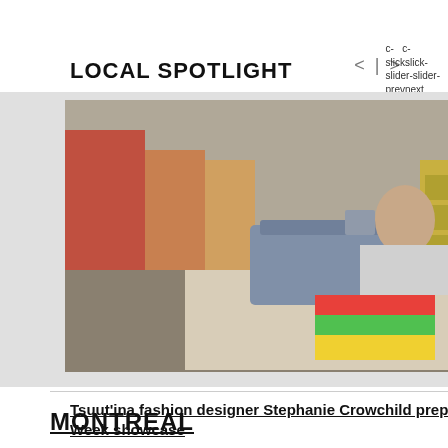LOCAL SPOTLIGHT
c-slickslider-prev c-slickslider-next
[Figure (photo): Woman sewing at a table with a sewing machine, colorful fabric visible, in a home studio setting]
[Figure (photo): Partial view of an outdoor scene with a vehicle and trees]
Tsuut'ina fashion designer Stephanie Crowchild prepares for New York Fashion Week showcase
85-year-old sets off on across Ca
MONTREAL